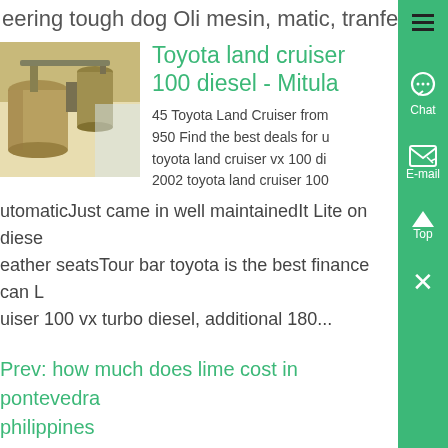eering tough dog Oli mesin, matic, tranfercase ,...
[Figure (photo): Industrial machinery photo showing large cylindrical equipment, likely a mill or industrial grinder]
Toyota land cruiser 100 diesel - Mitula
45 Toyota Land Cruiser from 950 Find the best deals for u toyota land cruiser vx 100 di 2002 toyota land cruiser 100
utomaticJust came in well maintainedIt Lite on diese eather seatsTour bar toyota is the best finance can L uiser 100 vx turbo diesel, additional 180...
Prev: how much does lime cost in pontevedra philippines
Next: corn mill factory in chennai